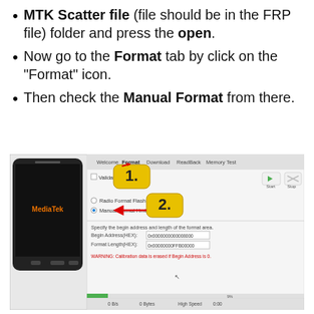MTK Scatter file (file should be in the FRP file) folder and press the open.
Now go to the Format tab by click on the “Format” icon.
Then check the Manual Format from there.
[Figure (screenshot): Screenshot of MediaTek SP Flash Tool showing the Format tab. A phone with MediaTek branding is shown on the left. The Format tab UI shows options: Validation, Radio Format Flash, Manual Format HmtB selected (highlighted with arrow labeled 2). Tab bar at top shows Welcome, Format, Download, ReadBack, Memory Test. Arrow labeled 1 points to Format tab. Fields for Begin Address(HEX) and Format Length(HEX) are shown with hex values. A warning in red text is visible. Status bar at the bottom shows 0 B/s, 0 Bytes, High Speed, 0:00.]